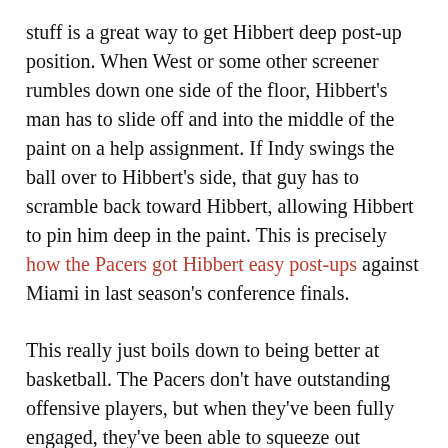stuff is a great way to get Hibbert deep post-up position. When West or some other screener rumbles down one side of the floor, Hibbert's man has to slide off and into the middle of the paint on a help assignment. If Indy swings the ball over to Hibbert's side, that guy has to scramble back toward Hibbert, allowing Hibbert to pin him deep in the paint. This is precisely how the Pacers got Hibbert easy post-ups against Miami in last season's conference finals.
This really just boils down to being better at basketball. The Pacers don't have outstanding offensive players, but when they've been fully engaged, they've been able to squeeze out enough points. Vogel is an ace at drawing up plays out of timeouts, and the Pacers are good at using back screens to create 3-point shots out of the post. If they rediscover their good habits, they should get back on track for their date with Miami. But if they don't, we shouldn't be surprised if